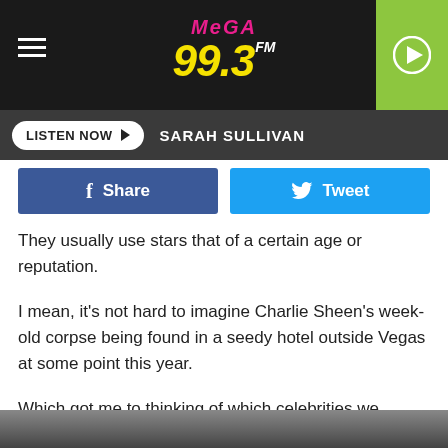[Figure (logo): Mega 99.3 FM radio station logo with hamburger menu and play button on black header bar]
LISTEN NOW  SARAH SULLIVAN
[Figure (infographic): Facebook Share button and Twitter Tweet button side by side]
They usually use stars that of a certain age or reputation.
I mean, it's not hard to imagine Charlie Sheen's week-old corpse being found in a seedy hotel outside Vegas at some point this year.
Which got me to thinking of which celebrities we should prepare our hearts for next as Death strolls down Rodeo Drive with a shotgun.
[Figure (photo): Partial photo at the bottom of the page showing a person's face]